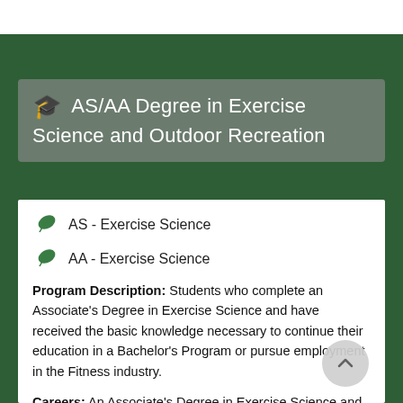AS/AA Degree in Exercise Science and Outdoor Recreation
AS - Exercise Science
AA - Exercise Science
Program Description:  Students who complete an Associate's Degree in Exercise Science and have received the basic knowledge necessary to continue their education in a Bachelor's Program or pursue employment in the Fitness industry.
Careers:  An Associate's Degree in Exercise Science and Outdoor Recreation prepares students to pursue employment in the Fitness industry.  Possible positions might include personal trainers, group fitness